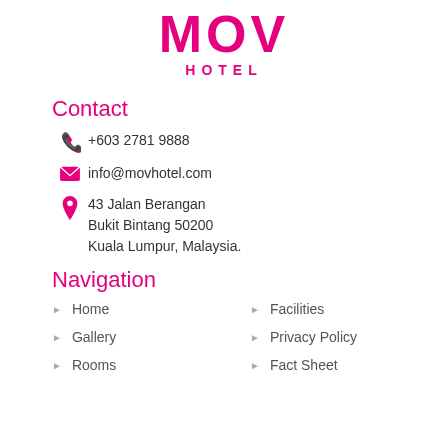MOV HOTEL
Contact
+603 2781 9888
info@movhotel.com
43 Jalan Berangan Bukit Bintang 50200 Kuala Lumpur, Malaysia.
Navigation
Home
Facilities
Gallery
Privacy Policy
Rooms
Fact Sheet